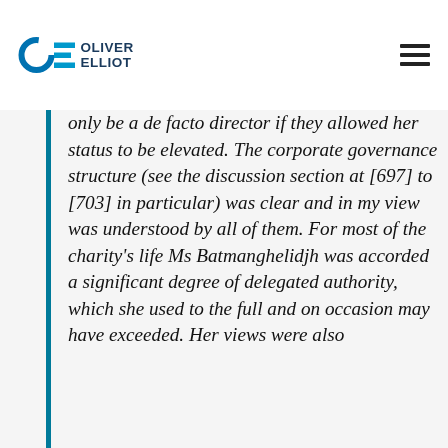Oliver Elliot
only be a de facto director if they allowed her status to be elevated. The corporate governance structure (see the discussion section at [697] to [703] in particular) was clear and in my view was understood by all of them. For most of the charity's life Ms Batmanghelidjh was accorded a significant degree of delegated authority, which she used to the full and on occasion may have exceeded. Her views were also